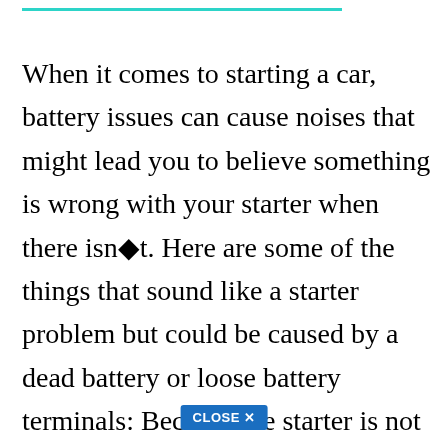When it comes to starting a car, battery issues can cause noises that might lead you to believe something is wrong with your starter when there isn◆t. Here are some of the things that sound like a starter problem but could be caused by a dead battery or loose battery terminals: Because the starter is not getting enough electricity to stay powered and crank the engine, the system’s repeated attempts make a clicking sound. Such noise is produced when there is a